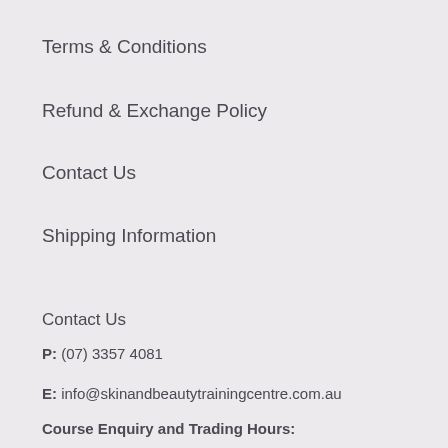Terms & Conditions
Refund & Exchange Policy
Contact Us
Shipping Information
Contact Us
P: (07) 3357 4081
E: info@skinandbeautytrainingcentre.com.au
Course Enquiry and Trading Hours: